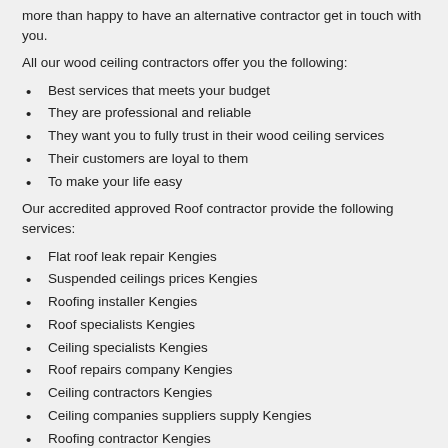more than happy to have an alternative contractor get in touch with you.
All our wood ceiling contractors offer you the following:
Best services that meets your budget
They are professional and reliable
They want you to fully trust in their wood ceiling services
Their customers are loyal to them
To make your life easy
Our accredited approved Roof contractor provide the following services:
Flat roof leak repair Kengies
Suspended ceilings prices Kengies
Roofing installer Kengies
Roof specialists Kengies
Ceiling specialists Kengies
Roof repairs company Kengies
Ceiling contractors Kengies
Ceiling companies suppliers supply Kengies
Roofing contractor Kengies
Slate roof repairs Kengies
Roof restorations Kengies
False ceiling boards prices Kengies
Wood ceiling Kengies
Roofing specialists Kengies
Ceiling insulation Kengies
Ceiling installations Kengies